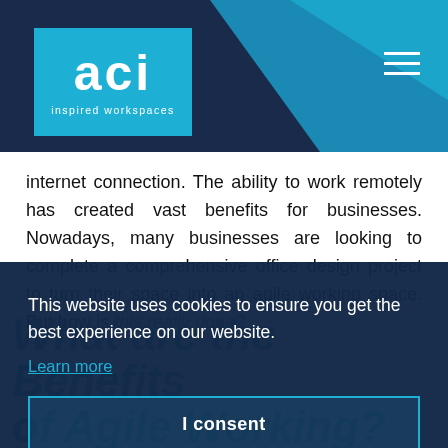[Figure (logo): ACI Inspired Workspaces logo — white text 'aci' on cyan/blue square background with 'inspired workspaces' subtitle]
internet connection. The ability to work remotely has created vast benefits for businesses. Nowadays, many businesses are looking to complete a comprehensive office design project to turn their space into an agile working space. But how is this really done?
What are the Benefits of Agile Working?
This website uses cookies to ensure you get the best experience on our website.
Learn more
I consent
Without the need to have set desk spaces or private offices, businesses are increasingly opting for open-plan offices that offer employees the ability to work anywhere.